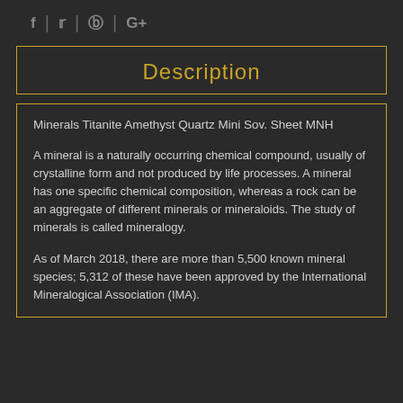f | t | p | G+
Description
Minerals Titanite Amethyst Quartz Mini Sov. Sheet MNH
A mineral is a naturally occurring chemical compound, usually of crystalline form and not produced by life processes. A mineral has one specific chemical composition, whereas a rock can be an aggregate of different minerals or mineraloids. The study of minerals is called mineralogy.
As of March 2018, there are more than 5,500 known mineral species; 5,312 of these have been approved by the International Mineralogical Association (IMA).